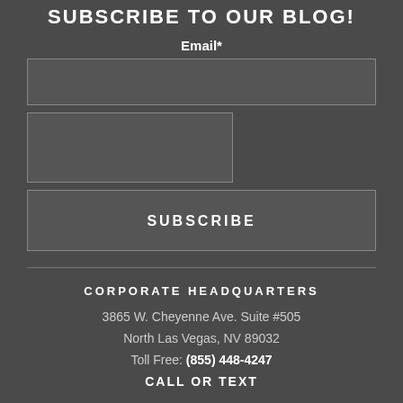SUBSCRIBE TO OUR BLOG!
Email*
[Figure (other): Email input text field (full width, dark background)]
[Figure (other): Second input text field (partial width, dark background)]
[Figure (other): SUBSCRIBE button (full width, dark background)]
CORPORATE HEADQUARTERS
3865 W. Cheyenne Ave. Suite #505
North Las Vegas, NV 89032
Toll Free: (855) 448-4247
CALL or TEXT